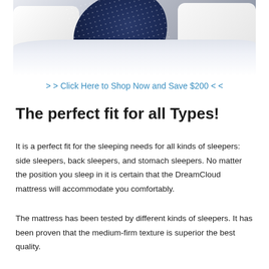[Figure (photo): Person in dark blue patterned pajamas lying in white bedding, partially visible from waist down, surrounded by white pillows and sheets.]
> > Click Here to Shop Now and Save $200 < <
The perfect fit for all Types!
It is a perfect fit for the sleeping needs for all kinds of sleepers: side sleepers, back sleepers, and stomach sleepers. No matter the position you sleep in it is certain that the DreamCloud mattress will accommodate you comfortably.
The mattress has been tested by different kinds of sleepers. It has been proven that the medium-firm texture is superior the best quality.